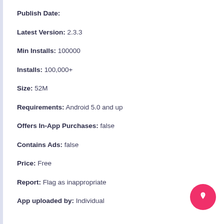Publish Date:
Latest Version: 2.3.3
Min Installs: 100000
Installs: 100,000+
Size: 52M
Requirements: Android 5.0 and up
Offers In-App Purchases: false
Contains Ads: false
Price: Free
Report: Flag as inappropriate
App uploaded by: Individual